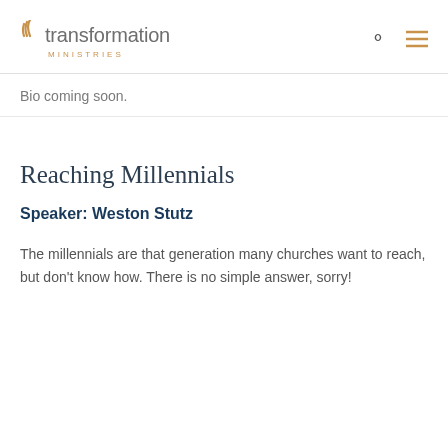transformation MINISTRIES
Bio coming soon.
Reaching Millennials
Speaker: Weston Stutz
The millennials are that generation many churches want to reach, but don't know how. There is no simple answer, sorry!